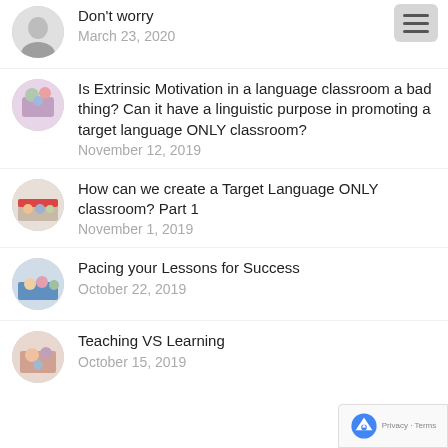Don't worry
March 23, 2020
Is Extrinsic Motivation in a language classroom a bad thing? Can it have a linguistic purpose in promoting a target language ONLY classroom?
November 12, 2019
How can we create a Target Language ONLY classroom? Part 1
November 1, 2019
Pacing your Lessons for Success
October 22, 2019
Teaching VS Learning
October 15, 2019